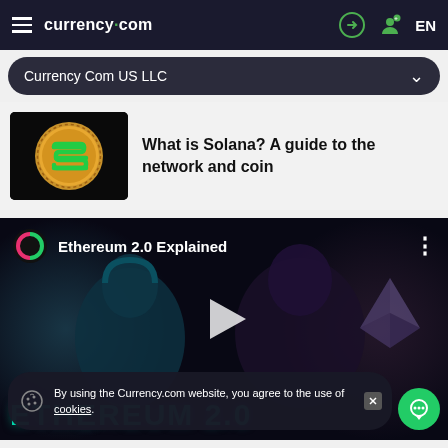currency.com — EN
Currency Com US LLC
[Figure (screenshot): Solana coin logo — gold coin with green S symbol]
What is Solana? A guide to the network and coin
[Figure (screenshot): Ethereum 2.0 Explained video thumbnail with two people and Ethereum diamond logo]
By using the Currency.com website, you agree to the use of cookies.